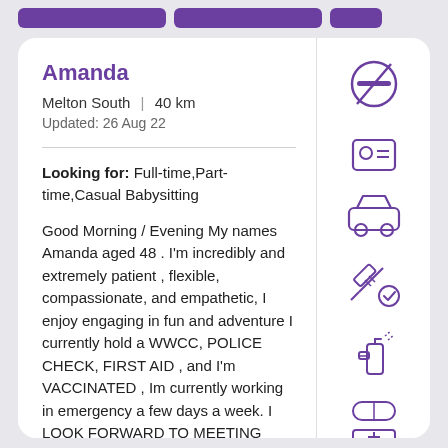Amanda
Melton South | 40 km
Updated: 26 Aug 22
Looking for: Full-time,Part-time,Casual Babysitting
Good Morning / Evening My names Amanda aged 48 . I'm incredibly and extremely patient , flexible, compassionate, and empathetic, I enjoy engaging in fun and adventure I currently hold a WWCC, POLICE CHECK, FIRST AID , and I'm VACCINATED , Im currently working in emergency a few days a week. I LOOK FORWARD TO MEETING YOU AND YOUR FAMILY. warm regards
[Figure (infographic): Column of purple outline icons: no-smoking circle, ID card, car, syringe with checkmark, spray bottle, eraser/pill, first aid kit with plus, checkmark (partially visible)]